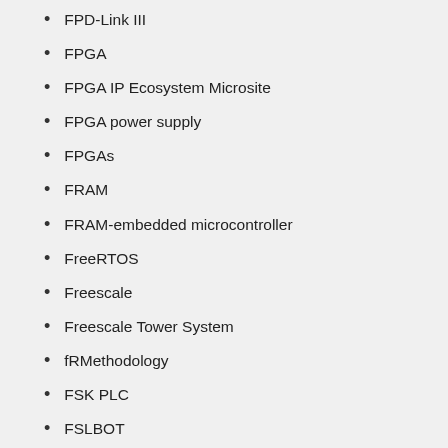FPD-Link III
FPGA
FPGA IP Ecosystem Microsite
FPGA power supply
FPGAs
FRAM
FRAM-embedded microcontroller
FreeRTOS
Freescale
Freescale Tower System
fRMethodology
FSK PLC
FSLBOT
FTDI
Fujitsu FM3 Family
functional safety
fuse
G3-PLC
GAI